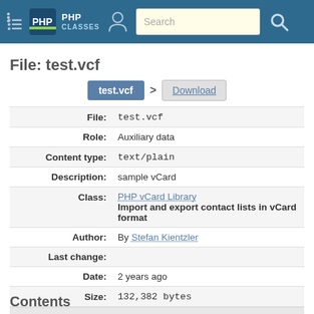PHP Classes — Search
File: test.vcf
test.vcf > Download
| Label | Value |
| --- | --- |
| File: | test.vcf |
| Role: | Auxiliary data |
| Content type: | text/plain |
| Description: | sample vCard |
| Class: | PHP vCard Library
Import and export contact lists in vCard format |
| Author: | By Stefan Kientzler |
| Last change: |  |
| Date: | 2 years ago |
| Size: | 132,382 bytes |
Contents